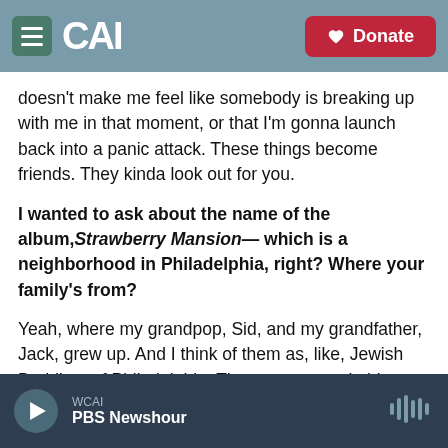CAI — Donate
doesn't make me feel like somebody is breaking up with me in that moment, or that I'm gonna launch back into a panic attack. These things become friends. They kinda look out for you.
I wanted to ask about the name of the album, Strawberry Mansion— which is a neighborhood in Philadelphia, right? Where your family's from?
Yeah, where my grandpop, Sid, and my grandfather, Jack, grew up. And I think of them as, like, Jewish Buddhas of Philadelphia. They were remarkable
WCAI
PBS Newshour